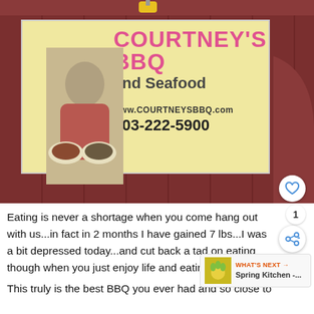[Figure (photo): Photo of a BBQ restaurant exterior with a large banner sign reading COURTNEY'S BBQ and Seafood, www.COURTNEYSBBQ.com, 803-222-5900, mounted on a dark red wooden building. A man holding two plates of food is pictured on the banner.]
Eating is never a shortage when you come hang out with us...in fact in 2 months I have gained 7 lbs...I was a bit depressed today...and cut back a tad on eating though when you just enjoy life and eating.... This truly is the best BBQ you ever had and so close to